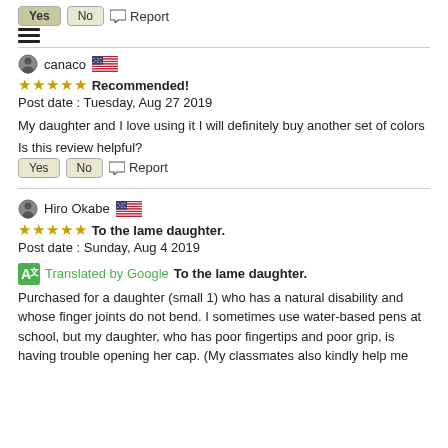Is this review helpful?
Yes | No | Report
canaco
★★★★★ Recommended!
Post date : Tuesday, Aug 27 2019
My daughter and I love using it I will definitely buy another set of colors
Is this review helpful?
Yes | No | Report
Hiro Okabe
★★★★★ To the lame daughter.
Post date : Sunday, Aug 4 2019
Translated by Google To the lame daughter.
Purchased for a daughter (small 1) who has a natural disability and whose finger joints do not bend. I sometimes use water-based pens at school, but my daughter, who has poor fingertips and poor grip, is having trouble opening her cap. (My classmates also kindly help me